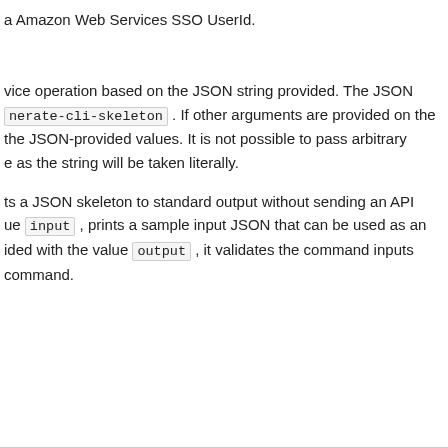a Amazon Web Services SSO UserId.
vice operation based on the JSON string provided. The JSON nerate-cli-skeleton. If other arguments are provided on the the JSON-provided values. It is not possible to pass arbitrary e as the string will be taken literally.
ts a JSON skeleton to standard output without sending an API ue input, prints a sample input JSON that can be used as an ided with the value output, it validates the command inputs command.